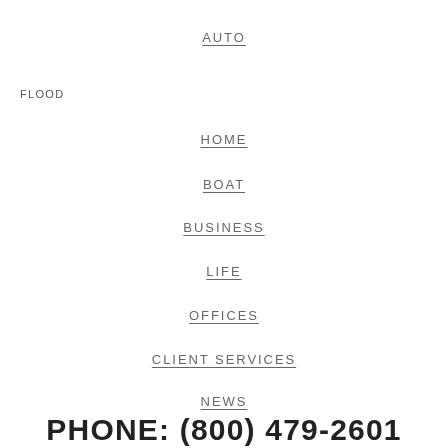AUTO
FLOOD
HOME
BOAT
BUSINESS
LIFE
OFFICES
CLIENT SERVICES
NEWS
PHONE: (800) 479-2601